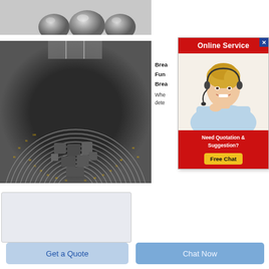[Figure (photo): Three gray metallic grinding balls/balls photographed from above on a light background]
[Figure (photo): Interior view of a ball mill showing concentric circular liners/rings with yellow markings and loose material at the bottom]
[Figure (photo): Gray/white textured box placeholder image]
Brea... Fun... Brea...
Whe... dete...
[Figure (infographic): Online Service advertisement popup with red header, photo of blonde woman with headset, red footer with 'Need Quotation & Suggestion?' and yellow Free Chat button]
Get a Quote
Chat Now